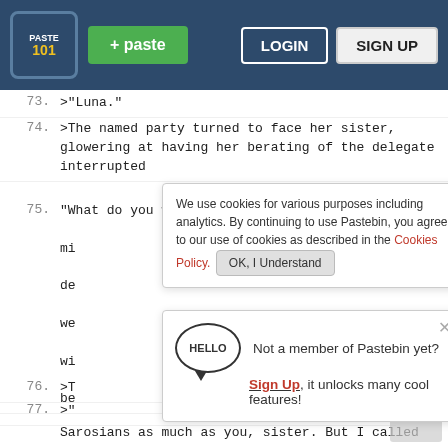Pastebin header with logo, paste button, LOGIN, SIGN UP
73.  >"Luna."
74.  >The named party turned to face her sister, glowering at having her berating of the delegate interrupted
75.  "What do you want from me, Celestia? I woke up at mi de we wi be
Cookie notice: We use cookies for various purposes including analytics. By continuing to use Pastebin, you agree to our use of cookies as described in the Cookies Policy. OK, I Understand
76.  >T
77.  >"
Not a member of Pastebin yet? Sign Up, it unlocks many cool features!
Sarosians as much as you, sister. But I called you here to discuss their fanaticism in their following of you. It is deeply concerning how they all but worship the ground you walk."
78.  >Luna says a decisive snort